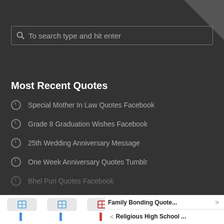[Figure (screenshot): Search bar with magnifying glass icon and placeholder text 'To search type and hit enter' on dark background]
Most Recent Quotes
Special Mother In Law Quotes Facebook
Grade 8 Graduation Wishes Facebook
25th Wedding Anniversary Message
One Week Anniversary Quotes Tumblr
Bhel Puri Quotes Facebook
[Figure (screenshot): Bottom navigation bar with four app icon thumbnails in boxes and icon labels below]
Family Bonding Quote...
Religious High School ...